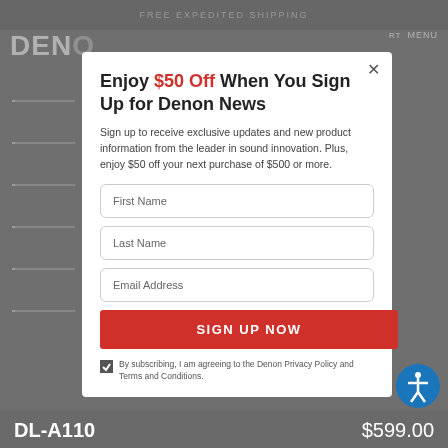FREE EXPEDITED SHIPPING
Enjoy $50 Off When You Sign Up for Denon News
Sign up to receive exclusive updates and new product information from the leader in sound innovation. Plus, enjoy $50 off your next purchase of $500 or more.
First Name
Last Name
Email Address
SIGN UP NOW
By subscribing, I am agreeing to the Denon Privacy Policy and Terms and Conditions.
DL-A110   $599.00